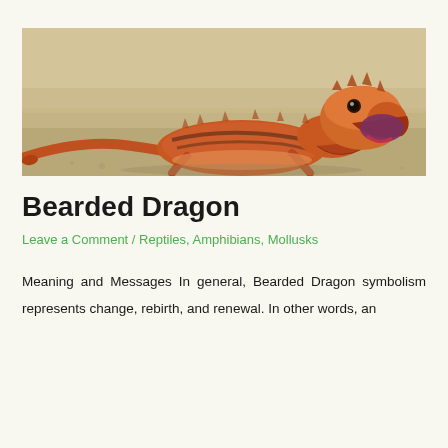[Figure (photo): A bearded dragon lizard with orange-red scales and mouth open wide, resting on sandy ground, photographed close-up against a blurred sandy background.]
Bearded Dragon
Leave a Comment / Reptiles, Amphibians, Mollusks
Meaning and Messages In general, Bearded Dragon symbolism represents change, rebirth, and renewal. In other words, an